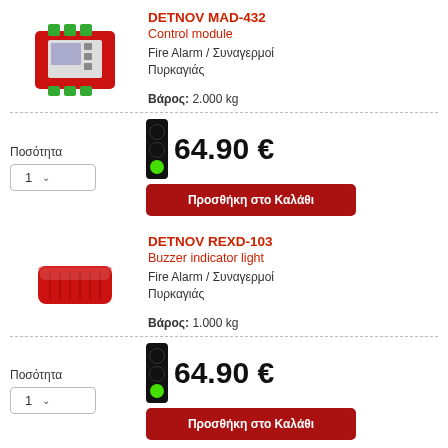[Figure (photo): Red DETNOV MAD-432 control module device with green terminal connectors]
DETNOV MAD-432
Control module
Fire Alarm / Συναγερμοί Πυρκαγιάς
Βάρος: 2.000 kg
Ποσότητα
1
64.90 €
Προσθήκη στο Καλάθι
[Figure (photo): Red DETNOV REXD-103 buzzer indicator light device]
DETNOV REXD-103
Buzzer indicator light
Fire Alarm / Συναγερμοί Πυρκαγιάς
Βάρος: 1.000 kg
Ποσότητα
1
64.90 €
Προσθήκη στο Καλάθι